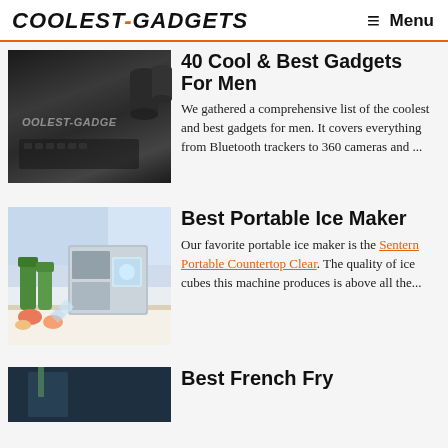COOLEST-GADGETS  ☰ Menu
40 Cool & Best Gadgets For Men
We gathered a comprehensive list of the coolest and best gadgets for men. It covers everything from Bluetooth trackers to 360 cameras and ...
[Figure (photo): Dark background with gadgets and coolest-gadgets watermark text]
Best Portable Ice Maker
Our favorite portable ice maker is the Sentern Portable Countertop Clear. The quality of ice cubes this machine produces is above all the...
[Figure (photo): Portable ice maker machine with green bottles and fruit on countertop]
Best French Fry